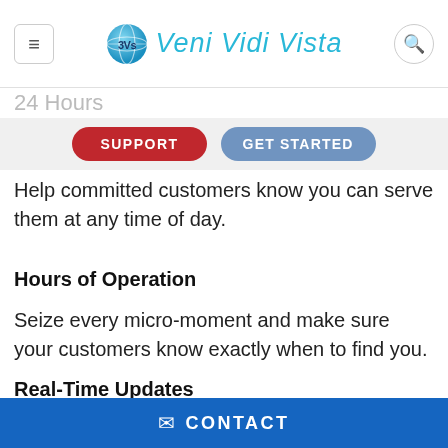Veni Vidi Vista — navigation header with menu, logo, search
24 Hours
SUPPORT | GET STARTED
Help committed customers know you can serve them at any time of day.
Hours of Operation
Seize every micro-moment and make sure your customers know exactly when to find you.
Real-Time Updates
Stay in control of your critical business information
✉ CONTACT